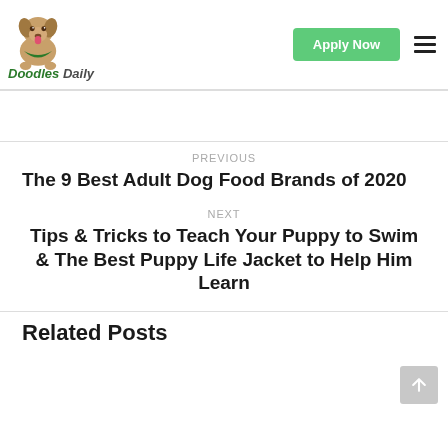Doodles Daily — Apply Now
PREVIOUS
The 9 Best Adult Dog Food Brands of 2020
NEXT
Tips & Tricks to Teach Your Puppy to Swim & The Best Puppy Life Jacket to Help Him Learn
Related Posts